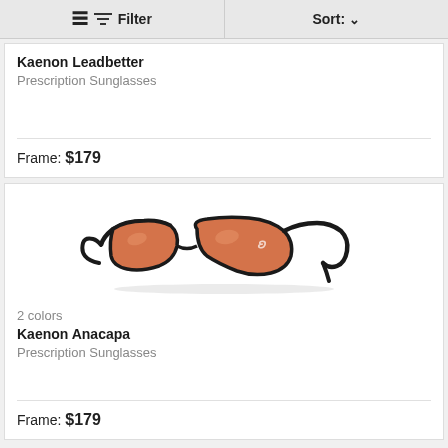Filter   Sort:
Kaenon Leadbetter
Prescription Sunglasses
Frame: $179
2 colors
Kaenon Anacapa
Prescription Sunglasses
[Figure (photo): Kaenon Anacapa prescription sunglasses with black frame and orange/copper lenses, shown in side profile view]
Frame: $179